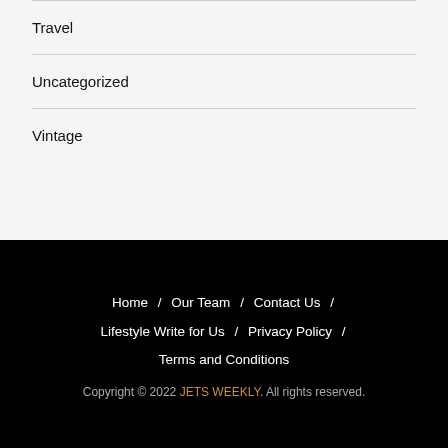Travel
Uncategorized
Vintage
Home / Our Team / Contact Us / Lifestyle Write for Us / Privacy Policy / Terms and Conditions
Copyright © 2022 JETS WEEKLY. All rights reserved.